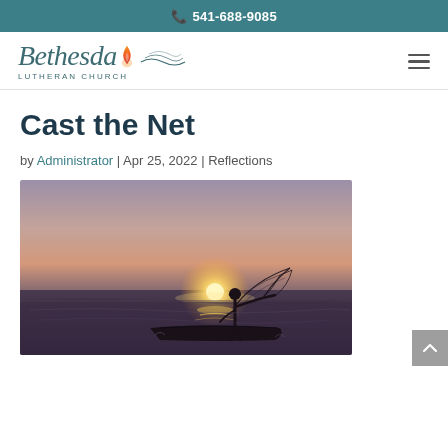541-688-9085
[Figure (logo): Bethesda Lutheran Church logo with script text, flame icon, wave lines, and subtitle 'LUTHERAN CHURCH']
Cast the Net
by Administrator | Apr 25, 2022 | Reflections
[Figure (photo): Silhouette of a fisherman on a boat casting a net at sunset over calm water, with sun glowing on the horizon]